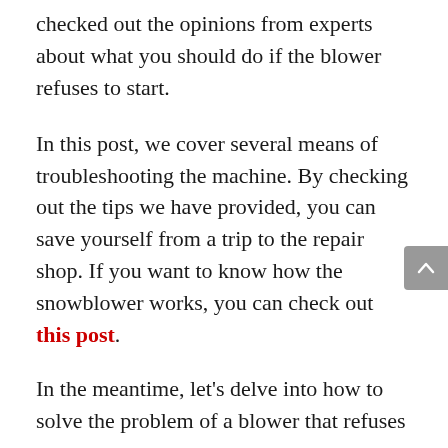checked out the opinions from experts about what you should do if the blower refuses to start.
In this post, we cover several means of troubleshooting the machine. By checking out the tips we have provided, you can save yourself from a trip to the repair shop. If you want to know how the snowblower works, you can check out this post.
In the meantime, let's delve into how to solve the problem of a blower that refuses to start.